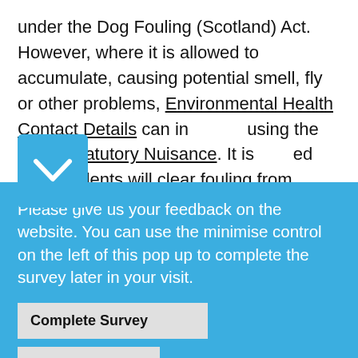under the Dog Fouling (Scotland) Act. However, where it is allowed to accumulate, causing potential smell, fly or other problems, Environmental Health Contact Details can intervene using the law of Statutory Nuisance. It is expected that residents will clear fouling from
[Figure (screenshot): Blue minimise control button (square with downward chevron/arrow) overlaid on the text]
Please give us your feedback on the website. You can use the minimise control on the left of this pop up to complete the survey later in your visit.
Complete Survey
No Thanks